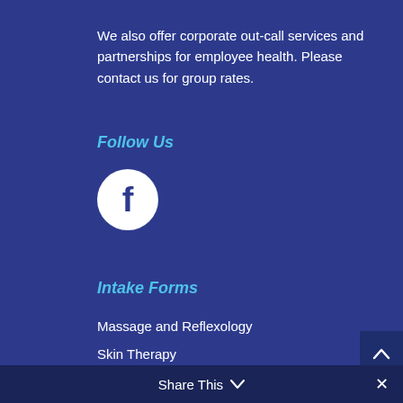We also offer corporate out-call services and partnerships for employee health. Please contact us for group rates.
Follow Us
[Figure (logo): Facebook icon — white circle with dark blue 'f' letter in the center]
Intake Forms
Massage and Reflexology
Skin Therapy
Waxing
Chemical Peel Consent
Share This ∨  ✕